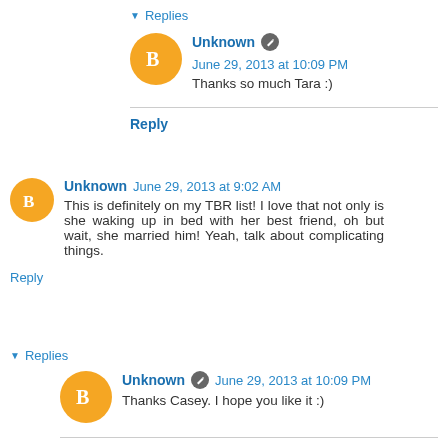▾ Replies
Unknown ✎ June 29, 2013 at 10:09 PM
Thanks so much Tara :)
Reply
Unknown June 29, 2013 at 9:02 AM
This is definitely on my TBR list! I love that not only is she waking up in bed with her best friend, oh but wait, she married him! Yeah, talk about complicating things.
Reply
▾ Replies
Unknown ✎ June 29, 2013 at 10:09 PM
Thanks Casey. I hope you like it :)
Reply